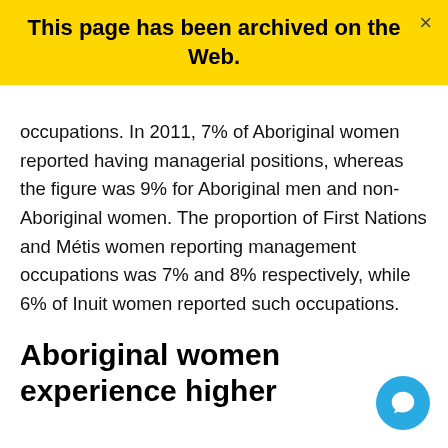This page has been archived on the Web.
occupations. In 2011, 7% of Aboriginal women reported having managerial positions, whereas the figure was 9% for Aboriginal men and non-Aboriginal women. The proportion of First Nations and Métis women reporting management occupations was 7% and 8% respectively, while 6% of Inuit women reported such occupations.
Aboriginal women experience higher